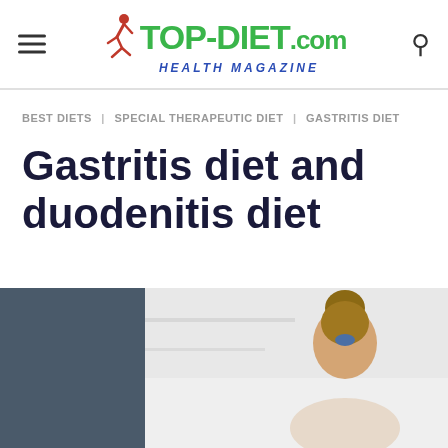TOP-DIET.com HEALTH MAGAZINE
BEST DIETS | SPECIAL THERAPEUTIC DIET | GASTRITIS DIET
Gastritis diet and duodenitis diet
[Figure (photo): Photo of a person with ponytail viewed from behind, in a kitchen or medical environment, grey panel on left side]